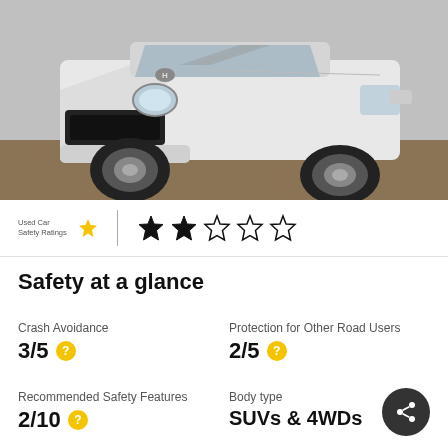[Figure (photo): Front view of a white Hyundai Tucson SUV parked, photographed from a low angle showing the grille, headlights, bumper, and front wheels.]
[Figure (infographic): Used Car Safety Ratings logo with one yellow star, a vertical divider, and a 2-out-of-5 star rating (2 filled black stars, 3 empty stars).]
Safety at a glance
Crash Avoidance
3/5
Protection for Other Road Users
2/5
Recommended Safety Features
2/10
Body type
SUVs & 4WDs